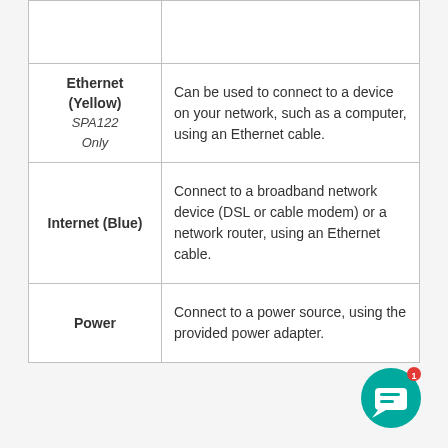| Port | Description |
| --- | --- |
|  |  |
| Ethernet (Yellow)
SPA122 Only | Can be used to connect to a device on your network, such as a computer, using an Ethernet cable. |
| Internet (Blue) | Connect to a broadband network device (DSL or cable modem) or a network router, using an Ethernet cable. |
| Power | Connect to a power source, using the provided power adapter. |
[Figure (illustration): Teal/green circular chat bubble icon with white message icon and a red notification badge showing '1']